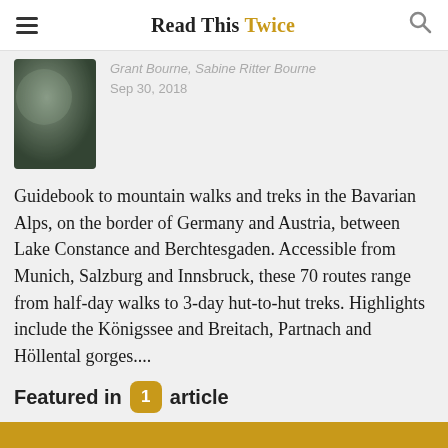Read This Twice
Grant Bourne, Sabine Ritter Bourne
Sep 30, 2018
[Figure (photo): Blurred book cover thumbnail showing dark green/grey alpine scene]
Guidebook to mountain walks and treks in the Bavarian Alps, on the border of Germany and Austria, between Lake Constance and Berchtesgaden. Accessible from Munich, Salzburg and Innsbruck, these 70 routes range from half-day walks to 3-day hut-to-hut treks. Highlights include the Königssee and Breitach, Partnach and Höllental gorges....
Featured in 1 article
13 Best Germany Travel Guide Books 2022 - WOW Travel
wowtravel.me